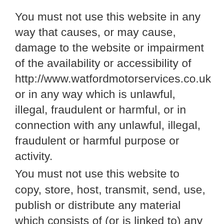You must not use this website in any way that causes, or may cause, damage to the website or impairment of the availability or accessibility of http://www.watfordmotorservices.co.uk or in any way which is unlawful, illegal, fraudulent or harmful, or in connection with any unlawful, illegal, fraudulent or harmful purpose or activity.
You must not use this website to copy, store, host, transmit, send, use, publish or distribute any material which consists of (or is linked to) any spyware, computer virus, Trojan horse, worm, keystroke logger, rootkit or other malicious computer software.
You must not conduct any systematic or automated data collection activities on or in relation to this website without